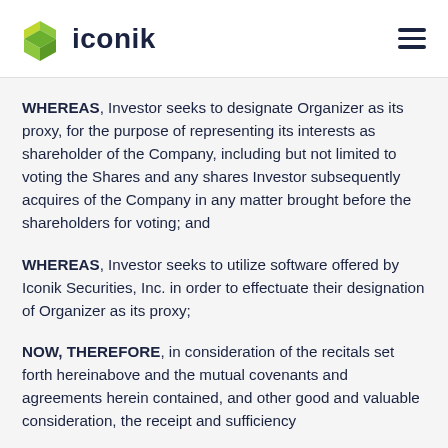iconik
WHEREAS, Investor seeks to designate Organizer as its proxy, for the purpose of representing its interests as shareholder of the Company, including but not limited to voting the Shares and any shares Investor subsequently acquires of the Company in any matter brought before the shareholders for voting; and
WHEREAS, Investor seeks to utilize software offered by Iconik Securities, Inc. in order to effectuate their designation of Organizer as its proxy;
NOW, THEREFORE, in consideration of the recitals set forth hereinabove and the mutual covenants and agreements herein contained, and other good and valuable consideration, the receipt and sufficiency